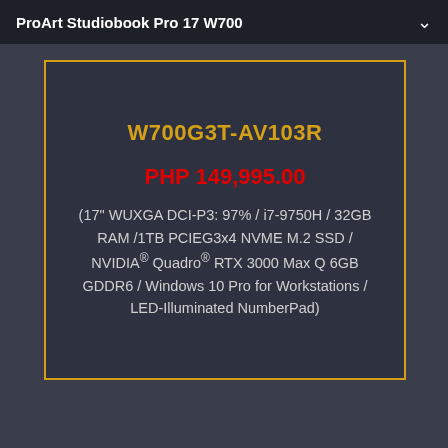ProArt Studiobook Pro 17 W700
W700G3T-AV103R
PHP 149,995.00
(17" WUXGA DCI-P3: 97% / i7-9750H / 32GB RAM /1TB PCIEG3x4 NVME M.2 SSD / NVIDIA® Quadro® RTX 3000 Max Q 6GB GDDR6 / Windows 10 Pro for Workstations / LED-Illuminated NumberPad)